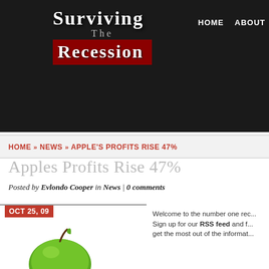Surviving The Recession — HOME | ABOUT
HOME » NEWS » APPLE'S PROFITS RISE 47%
Apples Profits Rise 47%
Posted by Evlondo Cooper in News | 0 comments
[Figure (photo): Green apple photograph with date badge reading OCT 25, 09]
Welcome to the number one rec... Sign up for our RSS feed and f... get the most out of the informat...